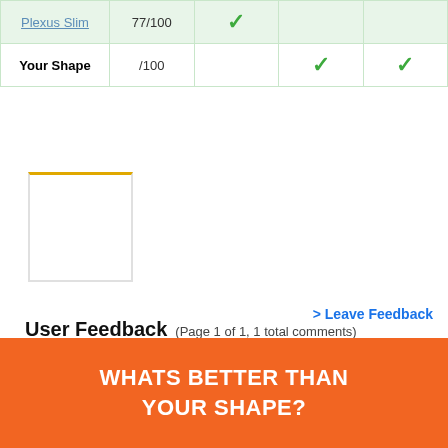| Product | Score | Col3 | Col4 | Col5 |
| --- | --- | --- | --- | --- |
| Plexus Slim | 77/100 | ✓ |  |  |
| Your Shape | /100 |  | ✓ | ✓ |
[Figure (other): Small product image placeholder box with orange top border]
> Leave Feedback
User Feedback (Page 1 of 1, 1 total comments)
MariaB + LOVE Jenny McCarthy, this looks like a great way to get in shape, can do
WHATS BETTER THAN YOUR SHAPE?